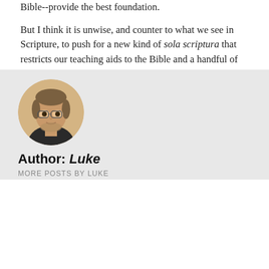Bible--provide the best foundation.
But I think it is unwise, and counter to what we see in Scripture, to push for a new kind of sola scriptura that restricts our teaching aids to the Bible and a handful of "approved" Christian authors.
~Luke Holzmann
Filmmaker, Writer, Expectant Father
[Figure (other): Social sharing buttons: Facebook (f), Twitter (bird), Email (envelope) — black rectangular buttons]
‹ PREVIOUS POST
NEXT POST ›
[Figure (photo): Circular author photo of a young man with glasses and light beard]
Author: Luke
MORE POSTS BY LUKE